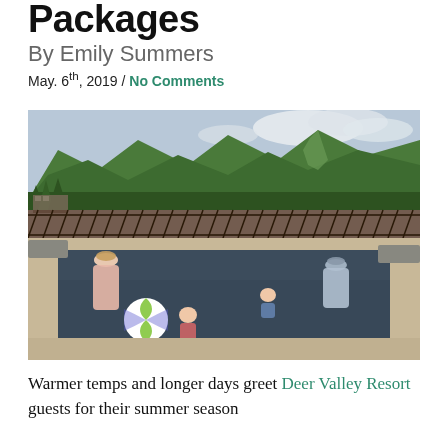Packages
By Emily Summers
May. 6th, 2019 / No Comments
[Figure (photo): Family enjoying an outdoor pool at Deer Valley Resort with green forested mountains in the background. A woman in a hat sits on a lounge chair, a man in a cap sits on the pool edge, and two children play in the dark-bottomed pool with a beach ball.]
Warmer temps and longer days greet Deer Valley Resort guests for their summer season